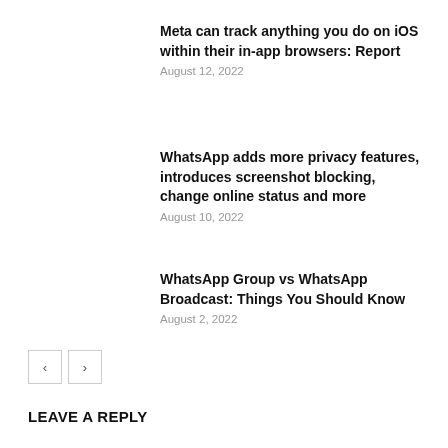Meta can track anything you do on iOS within their in-app browsers: Report
August 12, 2022
WhatsApp adds more privacy features, introduces screenshot blocking, change online status and more
August 10, 2022
WhatsApp Group vs WhatsApp Broadcast: Things You Should Know
August 2, 2022
LEAVE A REPLY